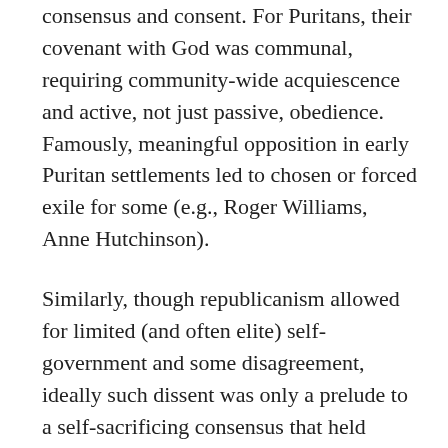consensus and consent. For Puritans, their covenant with God was communal, requiring community-wide acquiescence and active, not just passive, obedience. Famously, meaningful opposition in early Puritan settlements led to chosen or forced exile for some (e.g., Roger Williams, Anne Hutchinson).
Similarly, though republicanism allowed for limited (and often elite) self-government and some disagreement, ideally such dissent was only a prelude to a self-sacrificing consensus that held dissension.